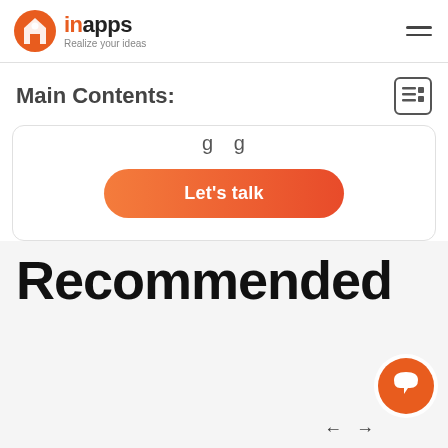[Figure (logo): InApps logo with orange circle containing house/pin icon and text 'inapps Realize your ideas']
Main Contents:
[Figure (screenshot): Partial visible text with a 'Let's talk' orange gradient button on a white card]
Recommended